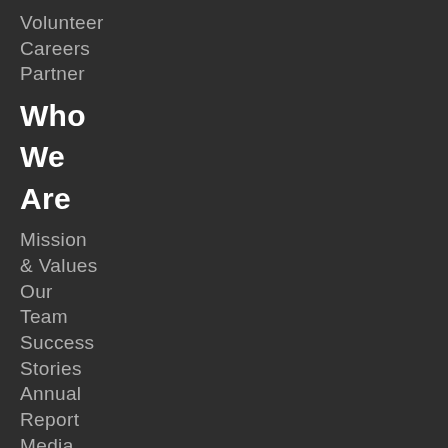Volunteer
Careers
Partner
Who
We
Are
Mission
& Values
Our
Team
Success
Stories
Annual
Report
Media